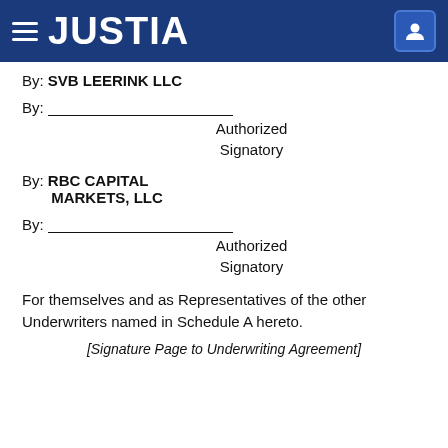JUSTIA
By: SVB LEERINK LLC
By: ________________
    Authorized
    Signatory
By: RBC CAPITAL MARKETS, LLC
By: ________________
    Authorized
    Signatory
For themselves and as Representatives of the other Underwriters named in Schedule A hereto.
[Signature Page to Underwriting Agreement]